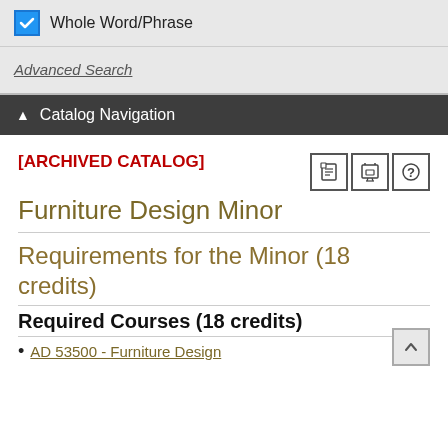Whole Word/Phrase
Advanced Search
Catalog Navigation
[ARCHIVED CATALOG]
Furniture Design Minor
Requirements for the Minor (18 credits)
Required Courses (18 credits)
AD 53500 - Furniture Design